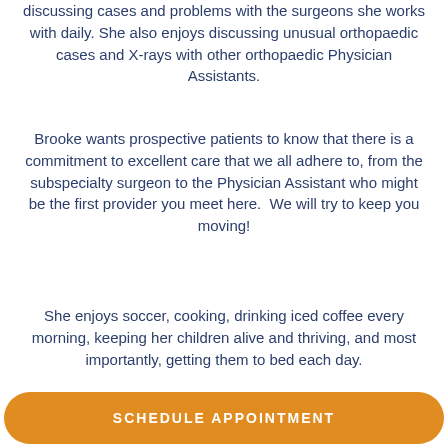discussing cases and problems with the surgeons she works with daily. She also enjoys discussing unusual orthopaedic cases and X-rays with other orthopaedic Physician Assistants.
Brooke wants prospective patients to know that there is a commitment to excellent care that we all adhere to, from the subspecialty surgeon to the Physician Assistant who might be the first provider you meet here. We will try to keep you moving!
She enjoys soccer, cooking, drinking iced coffee every morning, keeping her children alive and thriving, and most importantly, getting them to bed each day.
SCHEDULE APPOINTMENT